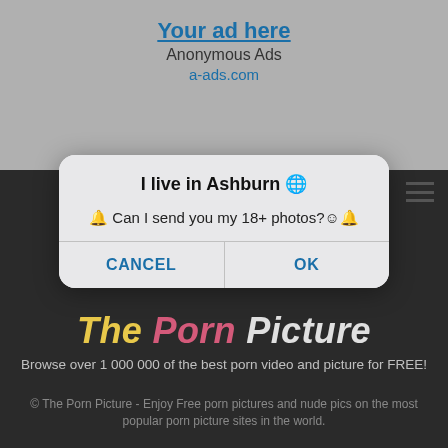[Figure (screenshot): Advertisement banner with text 'Your ad here', 'Anonymous Ads', 'a-ads.com' on gray background]
[Figure (screenshot): Mobile browser dialog overlay on dark website background reading 'I live in Ashburn' with 'Can I send you my 18+ photos?' and CANCEL / OK buttons, above 'The Porn Picture' site logo and footer text]
Browse over 1 000 000 of the best porn video and picture for FREE!
© The Porn Picture - Enjoy Free porn pictures and nude pics on the most popular porn picture sites in the world.